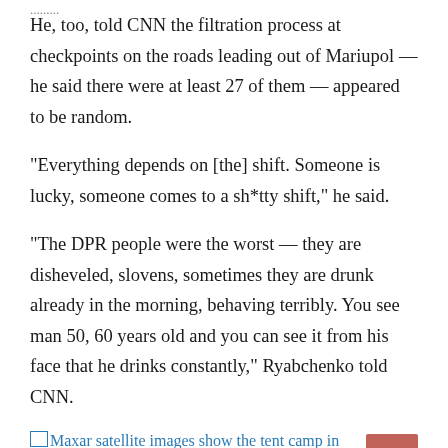...
He, too, told CNN the filtration process at checkpoints on the roads leading out of Mariupol — he said there were at least 27 of them — appeared to be random.
“Everything depends on [the] shift. Someone is lucky, someone comes to a sh*tty shift,” he said.
“The DPR people were the worst — they are disheveled, slovens, sometimes they are drunk already in the morning, behaving terribly. You see man 50, 60 years old and you can see it from his face that he drinks constantly,” Ryabchenko told CNN.
Maxar satellite images show the tent camp in Bezimenne on March 22.
Petro Andriushchenko, an adviser to the Mariupol mayor, said in a statement on Monday that Russian troops have set up five filtration points across the city.